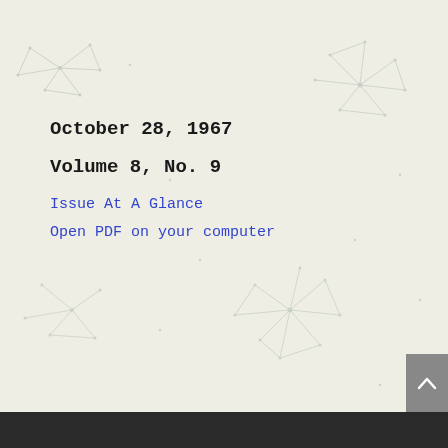October 28, 1967
Volume 8, No. 9
Issue At A Glance
Open PDF on your computer